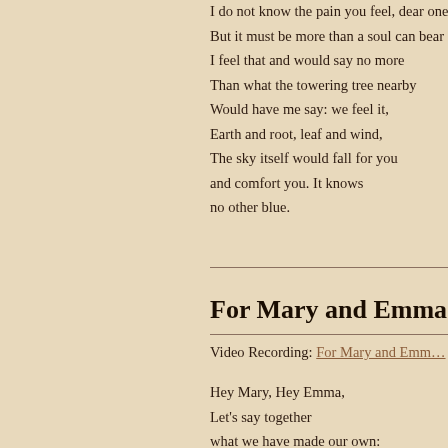I do not know the pain you feel, dear one,
But it must be more than a soul can bear --
I feel that and would say no more
Than what the towering tree nearby
Would have me say: we feel it,
Earth and root, leaf and wind,
The sky itself would fall for you
and comfort you. It knows
no other blue.
For Mary and Emma
Video Recording: For Mary and Emma
Hey Mary, Hey Emma,
Let's say together
what we have made our own: